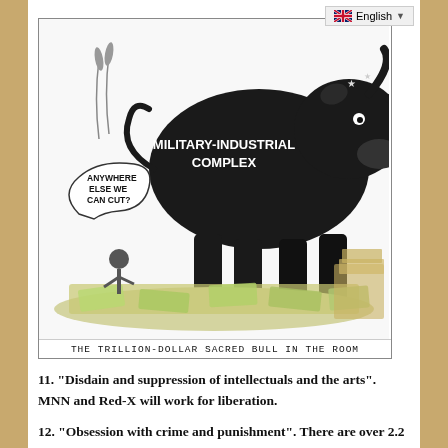English
[Figure (illustration): Political cartoon showing a large bull labeled 'Military-Industrial Complex' standing amid piles of money/bills. A small figure with a speech bubble says 'Anywhere else we can cut?' Caption reads: 'The Trillion-Dollar Sacred Bull in the Room']
THE TRILLION-DOLLAR SACRED BULL IN THE ROOM
11. “Disdain and suppression of intellectuals and the arts”. MNN and Red-X will work for liberation.
12. “Obsession with crime and punishment”. There are over 2.2 million in US prisons, the most of any country. The privatized penal system is owned by multi-billionaires such as George Wackenhut, crony of Bill Clinton. There is no line between government and private companies. They can never privately own our land. From the earth we come, to the earth we will return. Their lies cover this original lie that they own